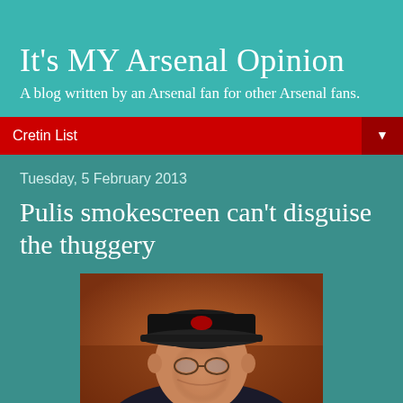It's MY Arsenal Opinion
A blog written by an Arsenal fan for other Arsenal fans.
Cretin List
Tuesday, 5 February 2013
Pulis smokescreen can't disguise the thuggery
[Figure (photo): Photo of a man wearing a black cap and glasses, partially visible from shoulders up, against a reddish background]